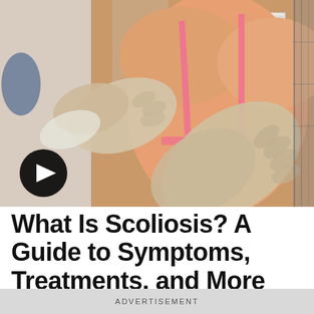[Figure (photo): A medical professional wearing white gloves and a white coat examines the bare back of a patient wearing a pink bra strap. Anatomy posters are visible in the background. A video play button (black circle with white triangle) is overlaid in the lower-left corner of the image.]
What Is Scoliosis? A Guide to Symptoms, Treatments, and More
ADVERTISEMENT